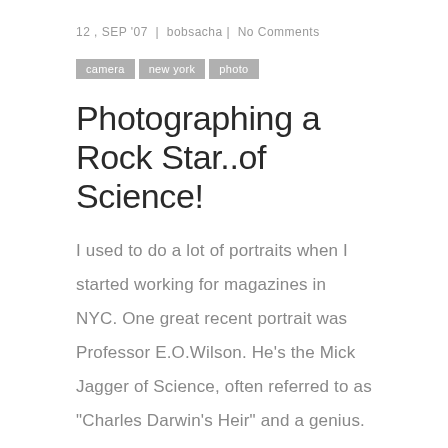12 , SEP '07  |  bobsacha |  No Comments
camera
new york
photo
Photographing a Rock Star..of Science!
I used to do a lot of portraits when I started working for magazines in NYC. One great recent portrait was Professor E.O.Wilson. He's the Mick Jagger of Science, often referred to as "Charles Darwin's Heir" and a genius. He …
READ MORE